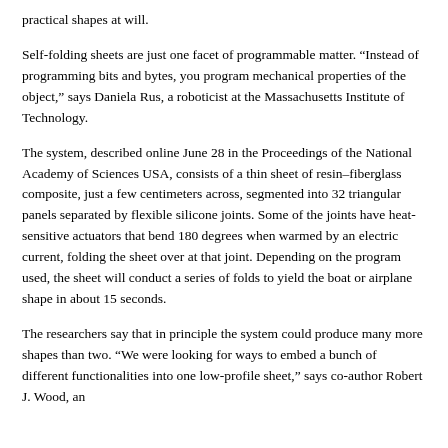practical shapes at will.
Self-folding sheets are just one facet of programmable matter. “Instead of programming bits and bytes, you program mechanical properties of the object,” says Daniela Rus, a roboticist at the Massachusetts Institute of Technology.
The system, described online June 28 in the Proceedings of the National Academy of Sciences USA, consists of a thin sheet of resin–fiberglass composite, just a few centimeters across, segmented into 32 triangular panels separated by flexible silicone joints. Some of the joints have heat-sensitive actuators that bend 180 degrees when warmed by an electric current, folding the sheet over at that joint. Depending on the program used, the sheet will conduct a series of folds to yield the boat or airplane shape in about 15 seconds.
The researchers say that in principle the system could produce many more shapes than two. “We were looking for ways to embed a bunch of different functionalities into one low-profile sheet,” says co-author Robert J. Wood, an